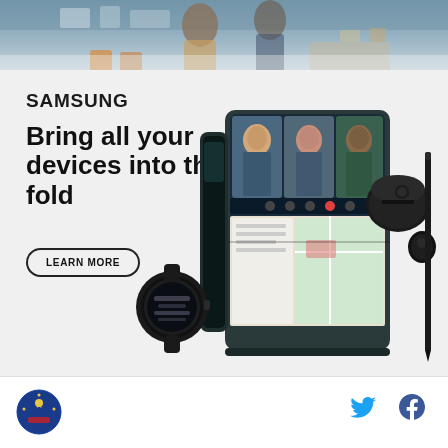[Figure (photo): Top portion showing people walking in a colorful room/classroom setting]
[Figure (infographic): Samsung advertisement showing Galaxy Z Fold4 with Galaxy Watch5 and Buds2 Pro. White/light gray background. Features SAMSUNG logo, headline 'Bring all your devices into the fold', LEARN MORE button, product images of the folding phone open showing video call, smartwatch, earbuds case, and stylus pen.]
SAMSUNG
Bring all your devices into the fold
LEARN MORE
Galaxy Z Fold4
Also shown: Galaxy Watch5 and Buds2 Pro
Products sold separately. S Pen (optional) sold separately, compatible only with main display. Requires S Pen Fold Edition or S Pen Pro. Microsoft Teams requires separate download.
POWERED BY CONVRRT   FEEDBACK